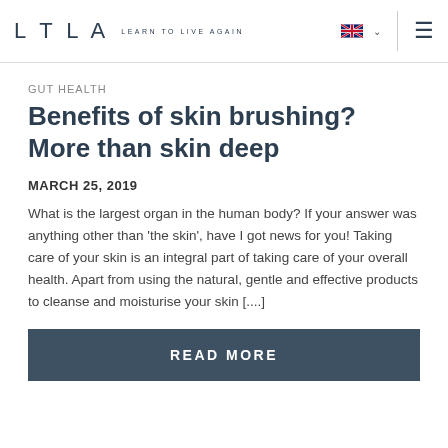LTLA LEARN TO LIVE AGAIN
GUT HEALTH
Benefits of skin brushing? More than skin deep
MARCH 25, 2019
What is the largest organ in the human body? If your answer was anything other than 'the skin', have I got news for you! Taking care of your skin is an integral part of taking care of your overall health. Apart from using the natural, gentle and effective products to cleanse and moisturise your skin [....]
READ MORE